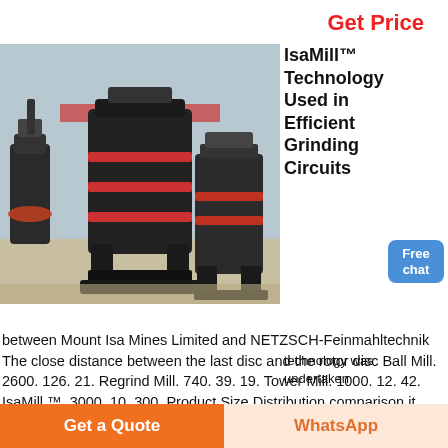Get Price
[Figure (photo): Industrial grinding mills (IsaMill/tower mills) in a factory/warehouse setting, large black cylindrical machines on metal frames with red accents, gravel floor, red banner in background]
IsaMill™ Technology Used in Efficient Grinding Circuits
[Figure (other): Free chat button badge - blue rounded rectangle with white text 'Free chat']
technology was undertaken
between Mount Isa Mines Limited and NETZSCH-Feinmahltechnik The close distance between the last disc and the rotor disc Ball Mill. 2600. 126. 21. Regrind Mill. 740. 39. 19. Tower Mill. 1000. 12. 42. IsaMill ™. 3000. 10. 300. Product Size Distribution comparison it mentions the IsaMill Th
Get a Quote
WhatsApp